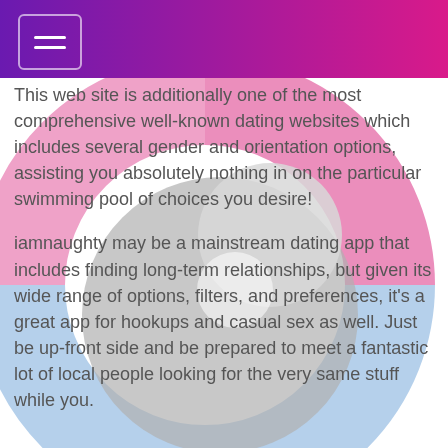This web site is additionally one of the most comprehensive well-known dating websites which includes several gender and orientation options, assisting you absolutely nothing in on the particular swimming pool of choices you desire!
iamnaughty may be a mainstream dating app that includes finding long-term relationships, but given its wide range of options, filters, and preferences, it's a great app for hookups and casual sex as well. Just be up-front side and be prepared to meet a fantastic lot of local people looking for the very same stuff while you.